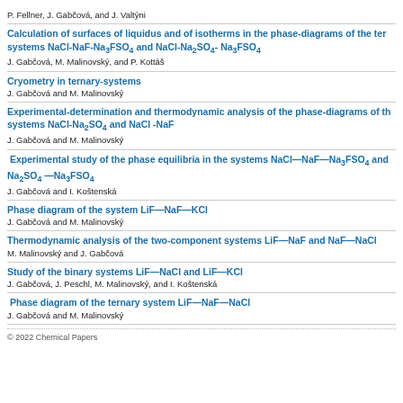P. Fellner, J. Gabčová, and J. Valtýni
Calculation of surfaces of liquidus and of isotherms in the phase-diagrams of the ternary systems NaCl-NaF-Na₃FSO₄ and NaCl-Na₂SO₄- Na₃FSO₄
J. Gabčová, M. Malinovský, and P. Kottáš
Cryometry in ternary-systems
J. Gabčová and M. Malinovský
Experimental-determination and thermodynamic analysis of the phase-diagrams of the systems NaCl-Na₂SO₄ and NaCl -NaF
J. Gabčová and M. Malinovský
Experimental study of the phase equilibria in the systems NaCl—NaF—Na₃FSO₄ and Na₂SO₄ —Na₃FSO₄
J. Gabčová and I. Koštenská
Phase diagram of the system LiF—NaF—KCl
J. Gabčová and M. Malinovský
Thermodynamic analysis of the two-component systems LiF—NaF and NaF—NaCl
M. Malinovský and J. Gabčová
Study of the binary systems LiF—NaCl and LiF—KCl
J. Gabčová, J. Peschl, M. Malinovský, and I. Koštenská
Phase diagram of the ternary system LiF—NaF—NaCl
J. Gabčová and M. Malinovský
© 2022 Chemical Papers